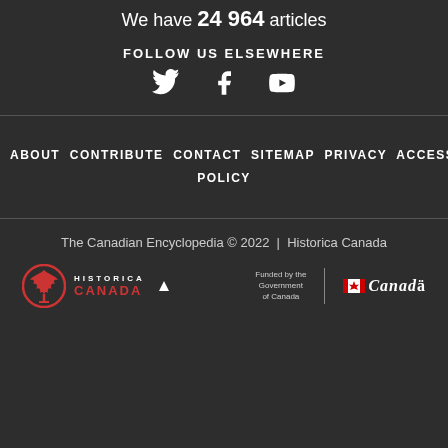We have 24 964 articles
FOLLOW US ELSEWHERE
[Figure (infographic): Social media icons: Twitter bird, Facebook f, YouTube play button]
ABOUT CONTRIBUTE CONTACT SITEMAP PRIVACY ACCESS POLICY
The Canadian Encyclopedia © 2022  |  Historica Canada
[Figure (logo): Historica Canada logo with maple leaf emblem in red circle, text HISTORICA CANADA]
[Figure (logo): Funded by the Government of Canada | Canada wordmark with flag symbol]